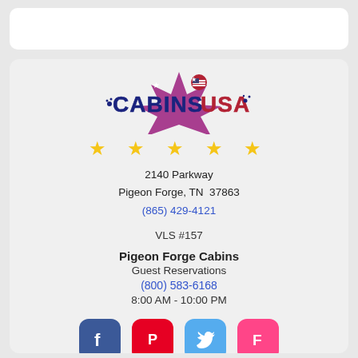[Figure (logo): Cabins USA logo with American flag star graphic, bold blue and red text]
[Figure (other): Five yellow star rating icons]
2140 Parkway
Pigeon Forge, TN  37863
(865) 429-4121
VLS #157
Pigeon Forge Cabins
Guest Reservations
(800) 583-6168
8:00 AM - 10:00 PM
[Figure (logo): Social media icons: Facebook, Pinterest, Twitter, Foursquare, and a red app icon with menu lines]